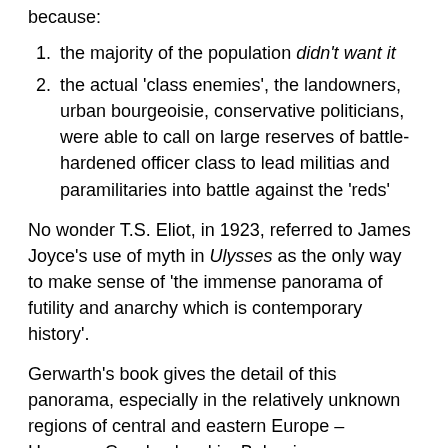because:
the majority of the population didn't want it
the actual 'class enemies', the landowners, urban bourgeoisie, conservative politicians, were able to call on large reserves of battle-hardened officer class to lead militias and paramilitaries into battle against the 'reds'
No wonder T.S. Eliot, in 1923, referred to James Joyce's use of myth in Ulysses as the only way to make sense of 'the immense panorama of futility and anarchy which is contemporary history'.
Gerwarth's book gives the detail of this panorama, especially in the relatively unknown regions of central and eastern Europe – Hungary, Czechoslovakia, Bulgaria,